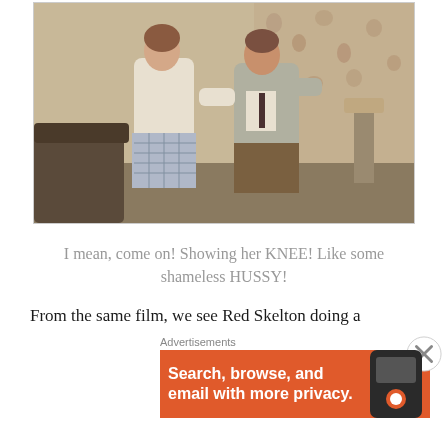[Figure (photo): Film still showing a woman in a white jacket and plaid skirt with a man in a gray suit and brown trousers, standing in an indoor setting with floral curtains in the background.]
I mean, come on! Showing her KNEE! Like some shameless HUSSY!
From the same film, we see Red Skelton doing a
Advertisements
[Figure (screenshot): Orange advertisement banner for DuckDuckGo with text: Search, browse, and email with more privacy. Shows a smartphone graphic.]